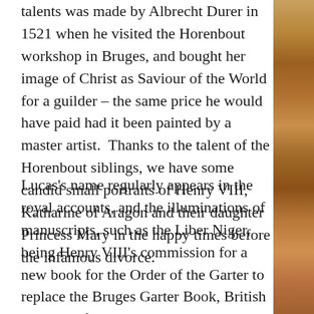talents was made by Albrecht Durer in 1521 when he visited the Horenbout workshop in Bruges, and bought her image of Christ as Saviour of the World for a guilder – the same price he would have paid had it been painted by a master artist.  Thanks to the talent of the Horenbout siblings, we have some candid small portraits of Henry VIII, Katharine of Aragon and their daughter Princess Mary in the happy times before the infamous divorce.
Lucas's name regularly appears in the royal accounts, and the illuminations of manuscripts, such as the Liber Niger, being Henry VIII's commission for a new book for the Order of the Garter to replace the Bruges Garter Book, British library Ref. Stowe Ms 594 created in the 1430s.  This illumination was painted by an unknown artist and shows the patron saint of
[Figure (illustration): Decorative vertical strip on the right edge of the page showing a painted illumination or artwork with warm golden, orange, and brown tones.]